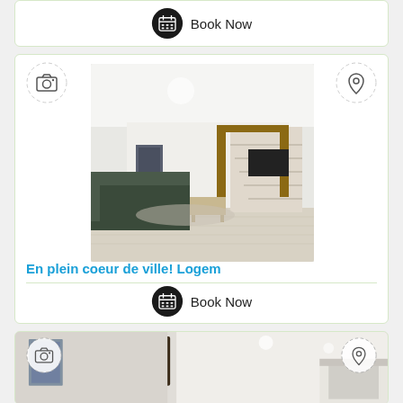[Figure (other): Top partial card showing Book Now button with calendar icon]
[Figure (photo): Property listing card showing a bright modern apartment interior with staircase and exposed wooden beams, with camera icon top-left and location pin icon top-right]
En plein coeur de ville! Logem
Book Now
[Figure (photo): Bottom partial property listing card showing interior with dark wooden beam on ceiling, framed art on wall, and kitchen area]